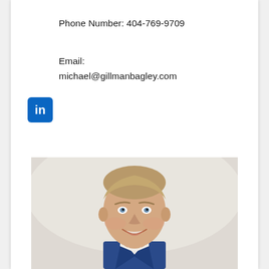Phone Number: 404-769-9709
Email:
michael@gillmanbagley.com
[Figure (logo): LinkedIn square logo icon with white 'in' text on blue background]
[Figure (photo): Professional headshot of a smiling man with blonde hair wearing a blue suit jacket and white shirt, photographed against a light background]